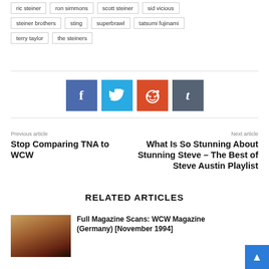ric steiner
ron simmons
scott steiner
sid vicious
steiner brothers
sting
superbrawl
tatsumi fujinami
terry taylor
the steiners
[Figure (infographic): Social share buttons: Facebook (blue), Twitter (light blue), Reddit (orange-red), Tumblr (dark gray)]
Previous article
Stop Comparing TNA to WCW
Next article
What Is So Stunning About Stunning Steve – The Best of Steve Austin Playlist
RELATED ARTICLES
[Figure (photo): Wrestling event crowd photo, warm orange and dark tones]
Full Magazine Scans: WCW Magazine (Germany) [November 1994]